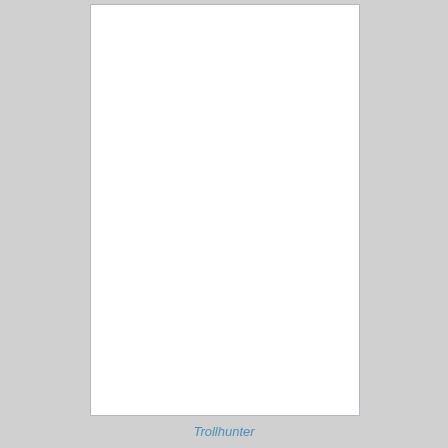[Figure (other): A blank white rectangular page/document area with a light gray border, displayed against a gray background.]
Trollhunter